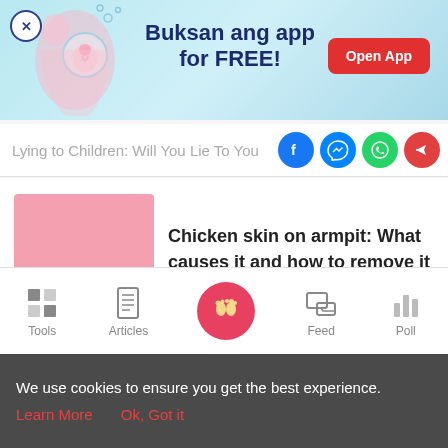[Figure (screenshot): App promotional banner with light blue gradient background, pregnancy illustration on left, text 'Buksan ang app for FREE!' in center, and red 'Open App' button on right]
Lying to Children: Will You Lie To You...
Chicken skin on armpit: What causes it and how to remove it
Parents file case against hospital for throwing...
Tools | Articles | Feed | Poll
We use cookies to ensure you get the best experience. Learn More Ok, Got it